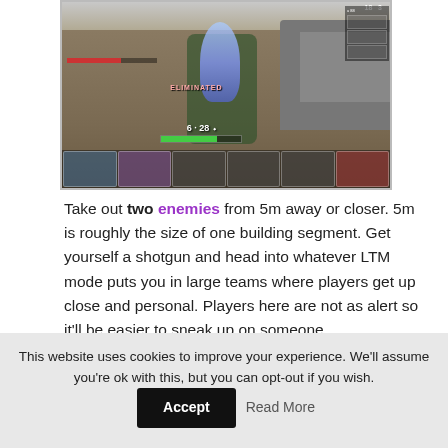[Figure (screenshot): A Fortnite gameplay screenshot showing a close-quarters combat scene with HUD elements including health bars, inventory slots with weapons, and score display showing '6 · 28']
Take out two enemies from 5m away or closer. 5m is roughly the size of one building segment. Get yourself a shotgun and head into whatever LTM mode puts you in large teams where players get up close and personal. Players here are not as alert so it'll be easier to sneak up on someone.
This website uses cookies to improve your experience. We'll assume you're ok with this, but you can opt-out if you wish. Accept Read More